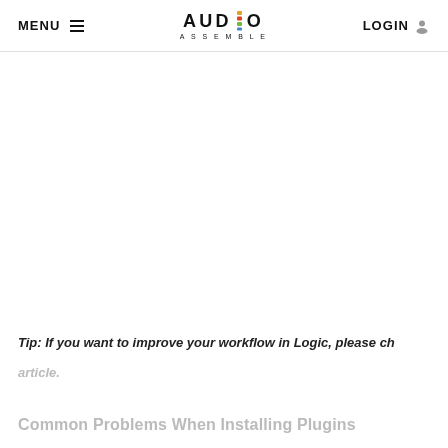MENU  AUDIO ASSEMBLE  LOGIN
Tip: If you want to improve your workflow in Logic, please ch
article.
Common Problems When Installing Plugins